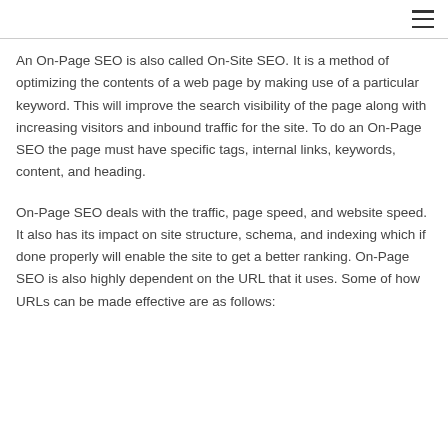An On-Page SEO is also called On-Site SEO. It is a method of optimizing the contents of a web page by making use of a particular keyword. This will improve the search visibility of the page along with increasing visitors and inbound traffic for the site. To do an On-Page SEO the page must have specific tags, internal links, keywords, content, and heading.
On-Page SEO deals with the traffic, page speed, and website speed. It also has its impact on site structure, schema, and indexing which if done properly will enable the site to get a better ranking. On-Page SEO is also highly dependent on the URL that it uses. Some of how URLs can be made effective are as follows: